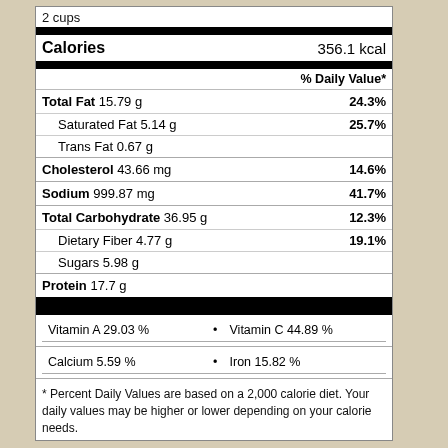| Nutrient | Amount | % Daily Value |
| --- | --- | --- |
| Calories | 356.1 kcal |  |
| % Daily Value* |  |  |
| Total Fat 15.79 g |  | 24.3% |
| Saturated Fat 5.14 g |  | 25.7% |
| Trans Fat 0.67 g |  |  |
| Cholesterol 43.66 mg |  | 14.6% |
| Sodium 999.87 mg |  | 41.7% |
| Total Carbohydrate 36.95 g |  | 12.3% |
| Dietary Fiber 4.77 g |  | 19.1% |
| Sugars 5.98 g |  |  |
| Protein 17.7 g |  |  |
| Vitamin A 29.03 % | Vitamin C 44.89 % |  |
| Calcium 5.59 % | Iron 15.82 % |  |
* Percent Daily Values are based on a 2,000 calorie diet. Your daily values may be higher or lower depending on your calorie needs.